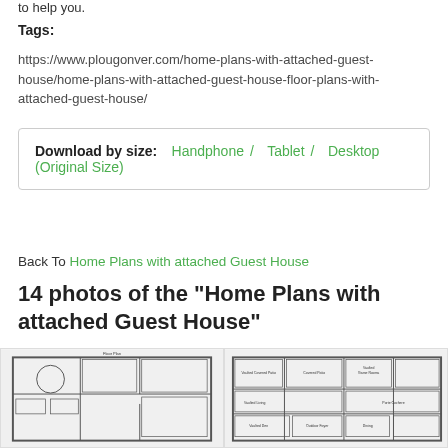to help you.
Tags:
https://www.plougonver.com/home-plans-with-attached-guest-house/home-plans-with-attached-guest-house-floor-plans-with-attached-guest-house/
Download by size: Handphone / Tablet / Desktop (Original Size)
Back To Home Plans with attached Guest House
14 photos of the "Home Plans with attached Guest House"
[Figure (other): Floor plan blueprint of a large home with attached guest house, showing room layouts and dimensions]
[Figure (other): Second floor plan blueprint showing rooms including vaulted covered patio, covered patio, vaulted game rooms, kitchen, garage, dining, foyer, and other spaces with dimensions]